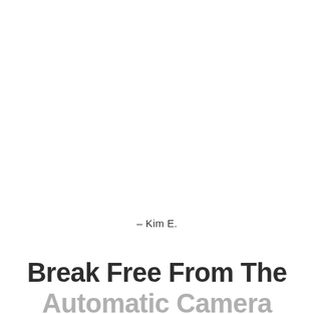– Kim E.
Break Free From The Automatic Camera Settings That Hold